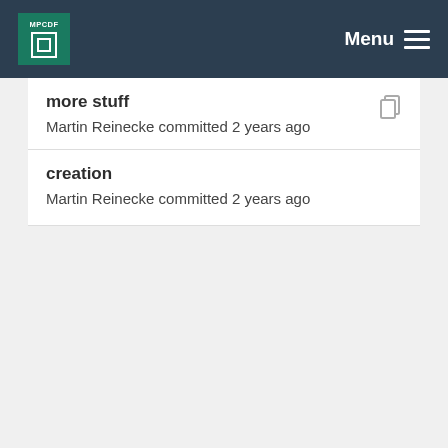MPCDF  Menu
more stuff
Martin Reinecke committed 2 years ago
creation
Martin Reinecke committed 2 years ago